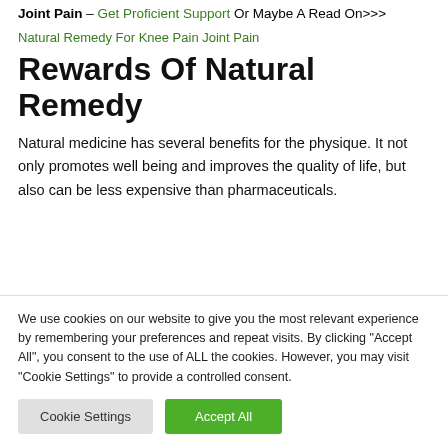Joint Pain – Get Proficient Support Or Maybe A Read On>>>
Natural Remedy For Knee Pain Joint Pain
Rewards Of Natural Remedy
Natural medicine has several benefits for the physique. It not only promotes well being and improves the quality of life, but also can be less expensive than pharmaceuticals.
We use cookies on our website to give you the most relevant experience by remembering your preferences and repeat visits. By clicking "Accept All", you consent to the use of ALL the cookies. However, you may visit "Cookie Settings" to provide a controlled consent.